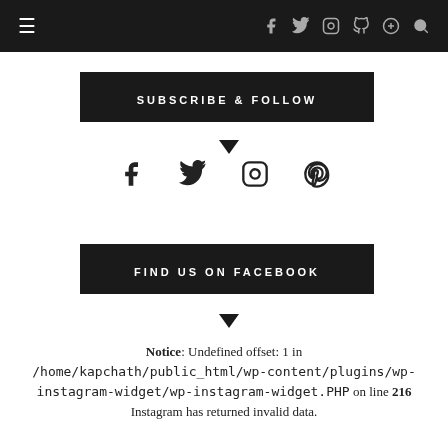≡  f  ✦  ⊡  ⊕  🔍
SUBSCRIBE & FOLLOW
[Figure (infographic): Social media icons row: Facebook, Twitter, Instagram, Pinterest]
FIND US ON FACEBOOK
Notice: Undefined offset: 1 in /home/kapchath/public_html/wp-content/plugins/wp-instagram-widget/wp-instagram-widget.PHP on line 216 Instagram has returned invalid data.